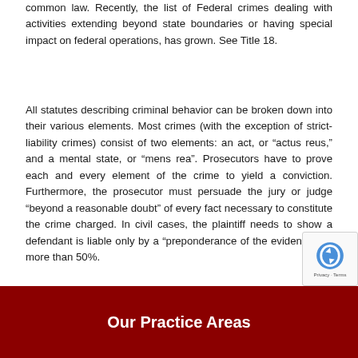common law. Recently, the list of Federal crimes dealing with activities extending beyond state boundaries or having special impact on federal operations, has grown. See Title 18.
All statutes describing criminal behavior can be broken down into their various elements. Most crimes (with the exception of strict-liability crimes) consist of two elements: an act, or “actus reus,” and a mental state, or “mens rea”. Prosecutors have to prove each and every element of the crime to yield a conviction. Furthermore, the prosecutor must persuade the jury or judge “beyond a reasonable doubt” of every fact necessary to constitute the crime charged. In civil cases, the plaintiff needs to show a defendant is liable only by a “preponderance of the evidence,” or more than 50%.
Our Practice Areas